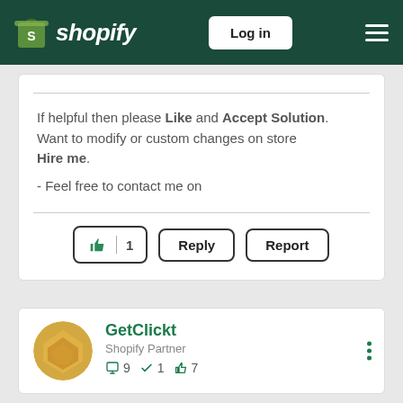Shopify — Log in
If helpful then please Like and Accept Solution. Want to modify or custom changes on store Hire me. - Feel free to contact me on
[Figure (screenshot): Action buttons row: thumbs-up like button with count 1, Reply button, Report button]
[Figure (screenshot): User profile card for GetClickt, Shopify Partner, with avatar, stats: 9 messages, 1 checkmark, 7 likes]